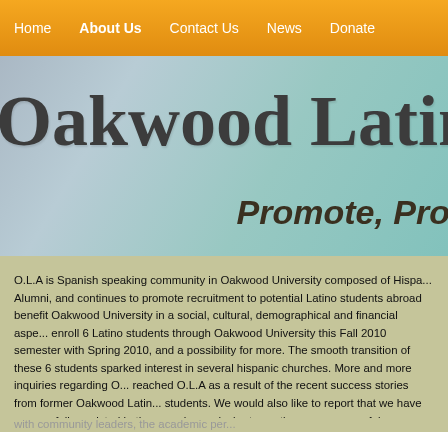Home | About Us | Contact Us | News | Donate
Oakwood Latino
Promote, Pro...
O.L.A is Spanish speaking community in Oakwood University composed of Hispanic Alumni, and continues to promote recruitment to potential Latino students abroad to benefit Oakwood University in a social, cultural, demographical and financial aspect. enroll 6 Latino students through Oakwood University this Fall 2010 semester with Spring 2010, and a possibility for more. The smooth transition of these 6 students sparked interest in several hispanic churches. More and more inquiries regarding O... reached O.L.A as a result of the recent success stories from former Oakwood Latino students. We would also like to report that we have successfully assisted in the gra... is our desire to continue our successful collaborations for the near future as we con...
webs